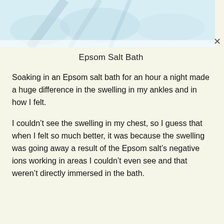[Figure (photo): Partial view of a light blue and white image at the top of a modal card, showing what appears to be bath salts or a water-related scene.]
Epsom Salt Bath
Soaking in an Epsom salt bath for an hour a night made a huge difference in the swelling in my ankles and in how I felt.
I couldn't see the swelling in my chest, so I guess that when I felt so much better, it was because the swelling was going away a result of the Epsom salt's negative ions working in areas I couldn't even see and that weren't directly immersed in the bath.